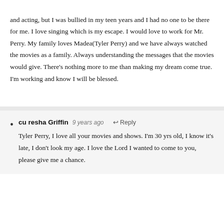and acting, but I was bullied in my teen years and I had no one to be there for me. I love singing which is my escape. I would love to work for Mr. Perry. My family loves Madea(Tyler Perry) and we have always watched the movies as a family. Always understanding the messages that the movies would give. There's nothing more to me than making my dream come true. I'm working and know I will be blessed.
cu resha Griffin  9 years ago  Reply
Tyler Perry, I love all your movies and shows. I'm 30 yrs old, I know it's late, I don't look my age. I love the Lord I wanted to come to you, please give me a chance.